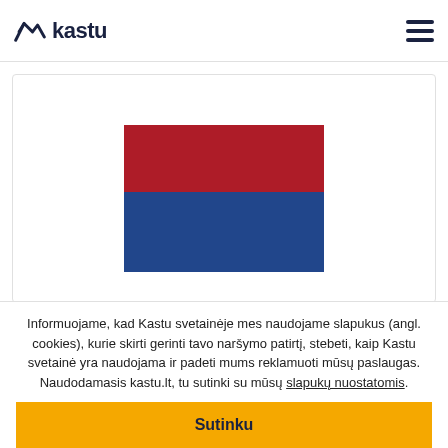kastu
[Figure (illustration): Netherlands flag - three horizontal stripes: white (top), red (middle), blue (bottom). Only red and blue stripes visible as colored bars.]
university of your choice (NL) ▶
📍 All
Studijų programos
Informuojame, kad Kastu svetainėje mes naudojame slapukus (angl. cookies), kurie skirti gerinti tavo naršymo patirtį, stebeti, kaip Kastu svetainė yra naudojama ir padeti mums reklamuoti mūsų paslaugas. Naudodamasis kastu.lt, tu sutinki su mūsų slapukų nuostatomis.
Sutinku